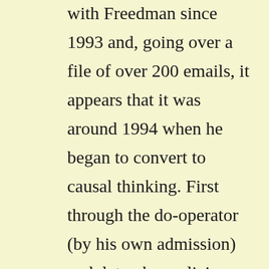with Freedman since 1993 and, going over a file of over 200 emails, it appears that it was around 1994 when he began to convert to causal thinking. First through the do-operator (by his own admission) and, later, by realizing that structural equations offer a neat way of encoding counterfactuals.

I speculate that the